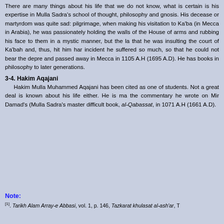There are many things about his life that we do not know, what is certain is his expertise in Mulla Sadra's school of thought, philosophy and gnosis. His decease or martyrdom was quite sad: pilgrimage, when making his visitation to Ka'ba (in Mecca in Arabia), he was passionately holding the walls of the House of arms and rubbing his face to them in a mystic manner, but the la that he was insulting the court of Ka'bah and, thus, hit him har incident he suffered so much, so that he could not bear the depre and passed away in Mecca in 1105 A.H (1695 A.D). He has books in philosophy to later generations.
3-4. Hakim Aqajani
Hakim Mulla Muhammed Aqajani has been cited as one of students. Not a great deal is known about his life either. He is ma the commentary he wrote on Mir Damad's (Mulla Sadra's master difficult book, al-Qabassat, in 1071 A.H (1661 A.D).
Note:
[1]. Tarikh Alam Array-e Abbasi, vol. 1, p. 146, Tazkarat khulasat al-ash'ar, T